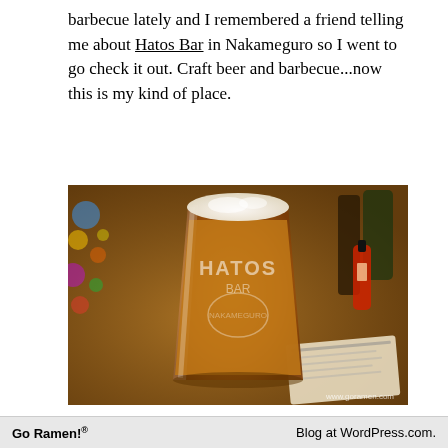barbecue lately and I remembered a friend telling me about Hatos Bar in Nakameguro so I went to go check it out. Craft beer and barbecue...now this is my kind of place.
[Figure (photo): A pint glass of amber craft beer with the Hatos Bar logo on it, sitting on a wooden bar counter. In the background are colorful lights, bottles, and a printed menu. The watermark www.goramen.com appears in the lower right.]
Go Ramen!®    Blog at WordPress.com.